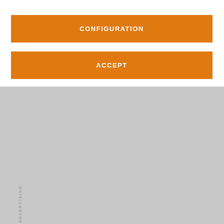[Figure (screenshot): Orange CONFIGURATION button on white background]
[Figure (screenshot): Orange ACCEPT button on white background]
ADVERTISING
SOCCER
Juventus want to reach agreement for Paul Pogba return this week
Juventus will meet with Paul Pogba's representative this week and hope to come to an agreement to sign the France international.